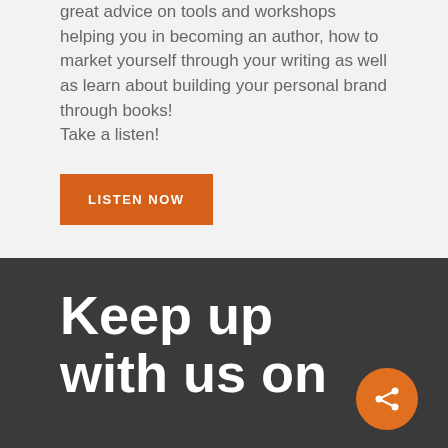great advice on tools and workshops helping you in becoming an author, how to market yourself through your writing as well as learn about building your personal brand through books! Take a listen!
LISTEN NOW
Keep up with us on